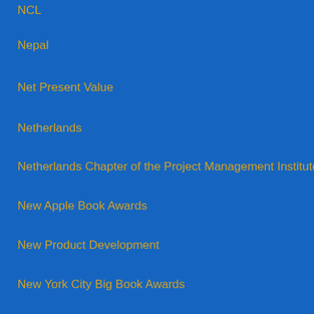NCL
Nepal
Net Present Value
Netherlands
Netherlands Chapter of the Project Management Institute
New Apple Book Awards
New Product Development
New York City Big Book Awards
New Zealand
New Zealand